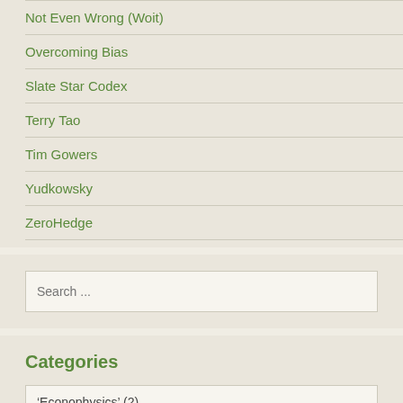Not Even Wrong (Woit)
Overcoming Bias
Slate Star Codex
Terry Tao
Tim Gowers
Yudkowsky
ZeroHedge
Search ...
Categories
‘Econophysics’  (2)